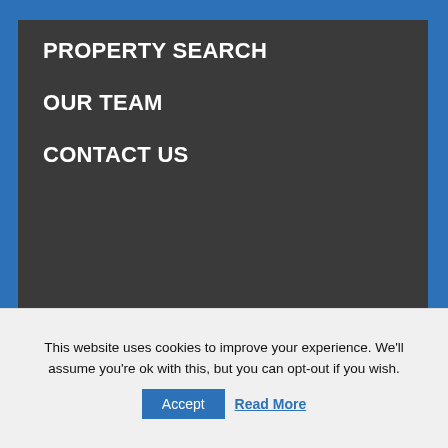PROPERTY SEARCH
OUR TEAM
CONTACT US
Copyright © 2022 Hurstwood Holdings • Head office address: 40 Peter Street, Manchester, M2 5GP
[Figure (logo): Hurstwood Holdings logo with blue triangle/arrow graphic]
[Figure (infographic): Social media icons: Twitter, LinkedIn, Facebook, Instagram — white circles on dark background]
This website uses cookies to improve your experience. We'll assume you're ok with this, but you can opt-out if you wish.
Accept   Read More